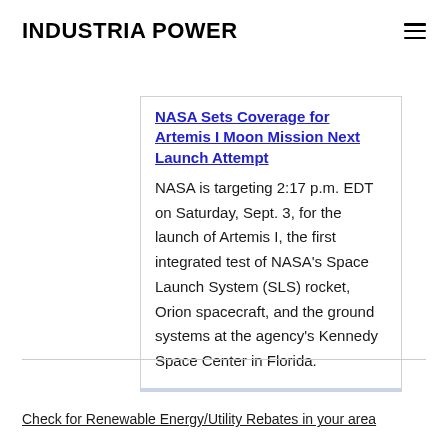INDUSTRIA POWER
NASA Sets Coverage for Artemis I Moon Mission Next Launch Attempt
NASA is targeting 2:17 p.m. EDT on Saturday, Sept. 3, for the launch of Artemis I, the first integrated test of NASA's Space Launch System (SLS) rocket, Orion spacecraft, and the ground systems at the agency's Kennedy Space Center in Florida.
Check for Renewable Energy/Utility Rebates in your area